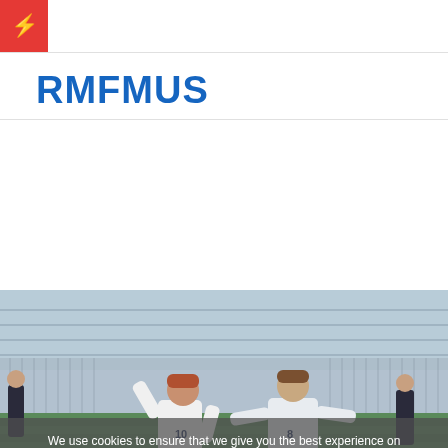RMFMUS
RMFMUS
[Figure (photo): Two soccer players in white Penn State uniforms celebrating on a soccer field, one wearing number 10 and the other number 8, with bleachers visible in the background and other players nearby.]
We use cookies to ensure that we give you the best experience on our website. If you continue to use this site we will assume that you are happy with it.